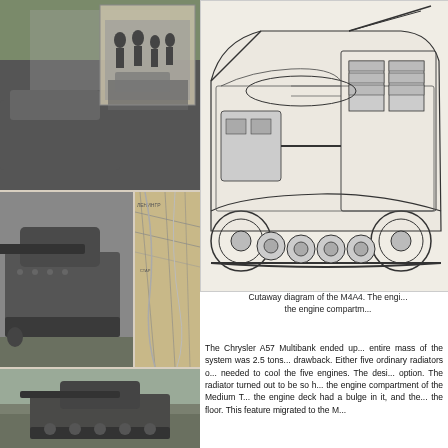[Figure (photo): Black and white photo collage on the left side showing WWII era tank scenes: top shows a tank in field, middle shows soldiers and a tank, lower middle shows a tank with large gun barrel and map overlay, bottom shows another tank in field]
[Figure (engineering-diagram): Cutaway/cross-section technical diagram of the M4A4 Sherman tank showing the internal components and engine compartment arrangement, black line drawing on white/light background]
Cutaway diagram of the M4A4. The engi... the engine compartm...
The Chrysler A57 Multibank ended up... entire mass of the system was 2.5 tons... drawback. Either five ordinary radiators o... needed to cool the five engines. The desi... option. The radiator turned out to be so h... the engine compartment of the Medium T... the engine deck had a bulge in it, and the... the floor. This feature migrated to the M...